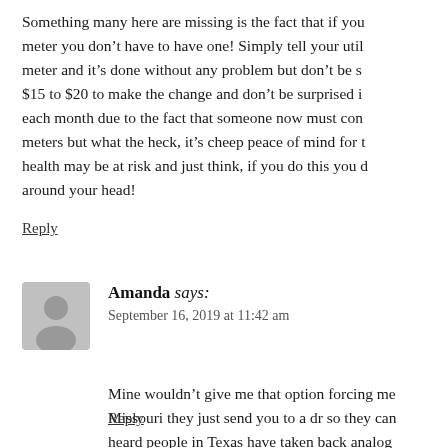Something many here are missing is the fact that if you don't want a smart meter you don't have to have one! Simply tell your utility company no smart meter and it's done without any problem but don't be surprised if they charge $15 to $20 to make the change and don't be surprised if there is a small fee each month due to the fact that someone now must come and read these old meters but what the heck, it's cheep peace of mind for those whose health may be at risk and just think, if you do this you don't have to wear tin foil around your head!
Reply
Amanda says: September 16, 2019 at 11:42 am
Mine wouldn't give me that option forcing me to have one. In Missouri they just send you to a dr so they can deem you crazy. I heard people in Texas have taken back analog meters. Also I heard that these smart meters catch fire and ca...
Reply